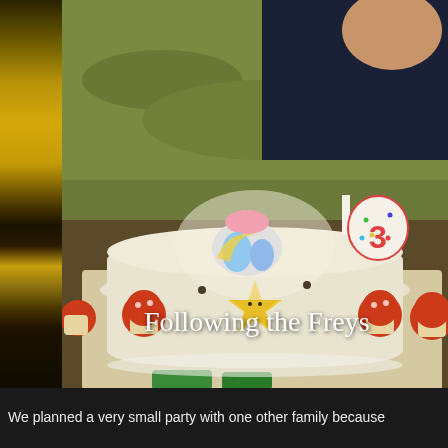[Figure (photo): A young child with a Mario-themed birthday cake decorated with mushrooms, stars, and a character on top, with a number 3 candle. Blog watermark 'Following the Freys' overlaid on the bottom of the image. Left side shows a partial photo with golden/yellow tones.]
We planned a very small party with one other family because